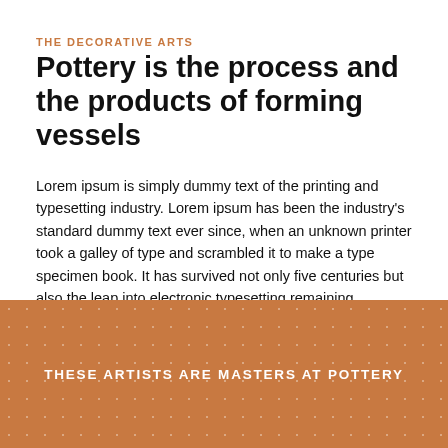THE DECORATIVE ARTS
Pottery is the process and the products of forming vessels
Lorem ipsum is simply dummy text of the printing and typesetting industry. Lorem ipsum has been the industry's standard dummy text ever since, when an unknown printer took a galley of type and scrambled it to make a type specimen book. It has survived not only five centuries but also the leap into electronic typesetting remaining essentially unchanged.
THESE ARTISTS ARE MASTERS AT POTTERY